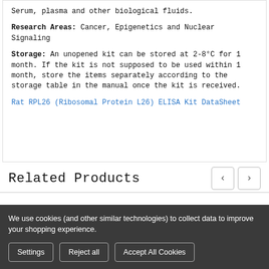Serum, plasma and other biological fluids.
Research Areas: Cancer, Epigenetics and Nuclear Signaling
Storage: An unopened kit can be stored at 2-8°C for 1 month. If the kit is not supposed to be used within 1 month, store the items separately according to the storage table in the manual once the kit is received.
Rat RPL26 (Ribosomal Protein L26) ELISA Kit DataSheet
Related Products
We use cookies (and other similar technologies) to collect data to improve your shopping experience.